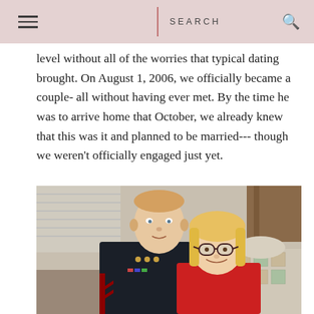SEARCH
level without all of the worries that typical dating brought. On August 1, 2006, we officially became a couple- all without having ever met. By the time he was to arrive home that October, we already knew that this was it and planned to be married--- though we weren't officially engaged just yet.
[Figure (photo): A young man in a United States Marine Corps dress blue uniform with a blonde woman wearing glasses and a red top, sitting together indoors, the woman leaning her head against the man's shoulder.]